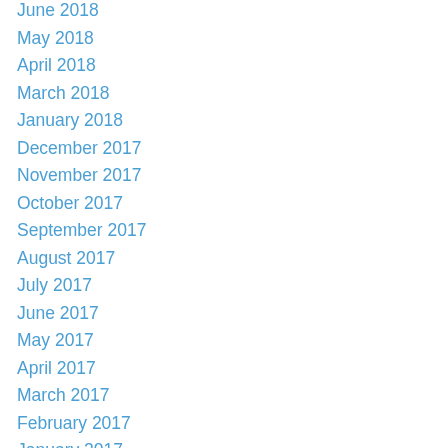June 2018
May 2018
April 2018
March 2018
January 2018
December 2017
November 2017
October 2017
September 2017
August 2017
July 2017
June 2017
May 2017
April 2017
March 2017
February 2017
January 2017
December 2016
November 2016
October 2016